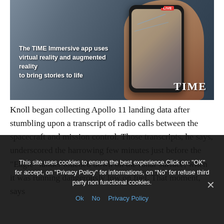[Figure (photo): A hand holding a smartphone displaying an augmented reality app. The TIME logo appears in the bottom right. Caption reads: The TIME Immersive app uses virtual reality and augmented reality to bring stories to life]
Knoll began collecting Apollo 11 landing data after stumbling upon a transcript of radio calls between the spacecraft and mission control. Those transcripts, he says, underscored the harrowing few minutes just before the “Eagle” lander touched down on the lunar surface, when it was running dangerously low on fuel. That moment, says
This site uses cookies to ensure the best experience.Click on: "OK" for accept, on "Privacy Policy" for informations, on "No" for refuse third party non functional cookies.
Ok  No  Privacy Policy
Knoll's commitment to accuracy comes in part from his